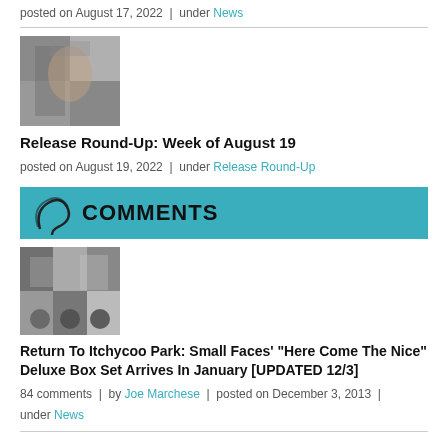posted on August 17, 2022 | under News
[Figure (photo): Thumbnail image of a person with styled hair and glasses]
Release Round-Up: Week of August 19
posted on August 19, 2022 | under Release Round-Up
COMMENTS
[Figure (photo): Thumbnail image of vinyl records and album covers]
Return To Itchycoo Park: Small Faces' "Here Come The Nice" Deluxe Box Set Arrives In January [UPDATED 12/3]
84 comments | by Joe Marchese | posted on December 3, 2013 | under News